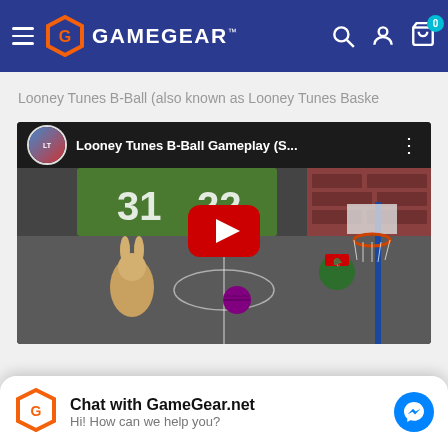GAMEGEAR
Looney Tunes B-Ball (also known as Looney Tunes Baske
[Figure (screenshot): YouTube video thumbnail showing Looney Tunes B-Ball Gameplay with channel icon and play button overlay]
Chat with GameGear.net
Hi! How can we help you?